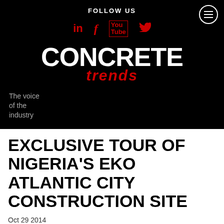FOLLOW US
[Figure (logo): CONCRETE trends logo with social media icons (LinkedIn, Facebook, YouTube, Twitter) on black background]
The voice of the industry
EXCLUSIVE TOUR OF NIGERIA'S EKO ATLANTIC CITY CONSTRUCTION SITE
Oct 29 2014